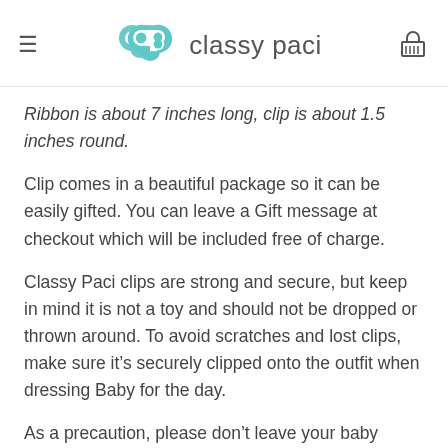classy paci
Ribbon is about 7 inches long, clip is about 1.5 inches round.
Clip comes in a beautiful package so it can be easily gifted. You can leave a Gift message at checkout which will be included free of charge.
Classy Paci clips are strong and secure, but keep in mind it is not a toy and should not be dropped or thrown around. To avoid scratches and lost clips, make sure it’s securely clipped onto the outfit when dressing Baby for the day.
As a precaution, please don’t leave your baby